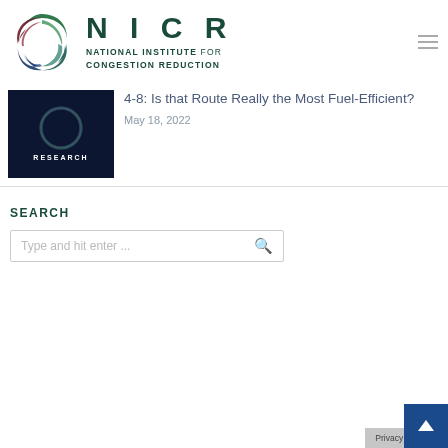[Figure (logo): NICR logo with circular colored swooshes (dark green, dark red, dark blue) and text 'NICR / NATIONAL INSTITUTE FOR CONGESTION REDUCTION']
[Figure (photo): Dark blue thumbnail image with NICR globe logo and text 'RESEARCH' in white capital letters]
4-8: Is that Route Really the Most Fuel-Efficient?
May 18, 2022
SEARCH
Type and hit enter ...
Privacy · Terms